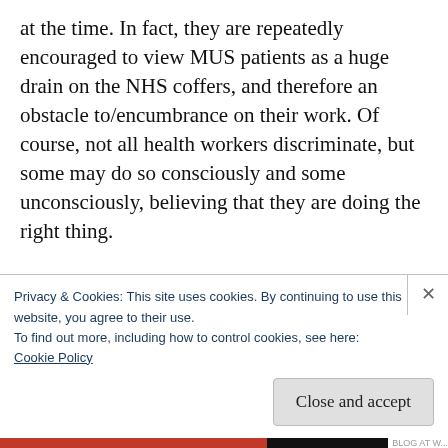at the time. In fact, they are repeatedly encouraged to view MUS patients as a huge drain on the NHS coffers, and therefore an obstacle to/encumbrance on their work. Of course, not all health workers discriminate, but some may do so consciously and some unconsciously, believing that they are doing the right thing.
I'm not an ME patient and would not call myself an ME advocate. However, I have
Privacy & Cookies: This site uses cookies. By continuing to use this website, you agree to their use.
To find out more, including how to control cookies, see here:
Cookie Policy
Close and accept